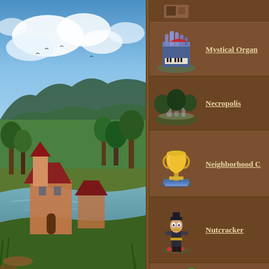[Figure (illustration): Fantasy game landscape with medieval village, river, trees, mountains and cloudy sky]
Mystical Organ
Necropolis
Neighborhood C
Nutcracker
Oasis
Obelisk Garden